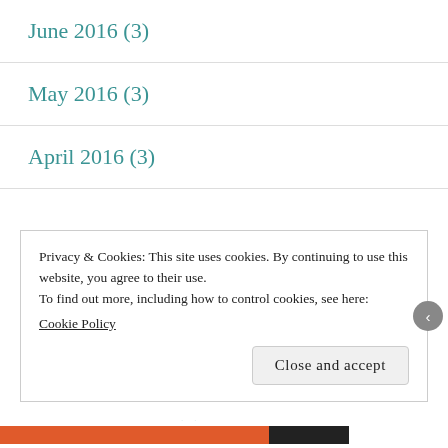June 2016 (3)
May 2016 (3)
April 2016 (3)
February 2016 (1)
January 2016 (1)
December 2015 (2)
November 2015 (3)
Privacy & Cookies: This site uses cookies. By continuing to use this website, you agree to their use.
To find out more, including how to control cookies, see here:
Cookie Policy
Close and accept